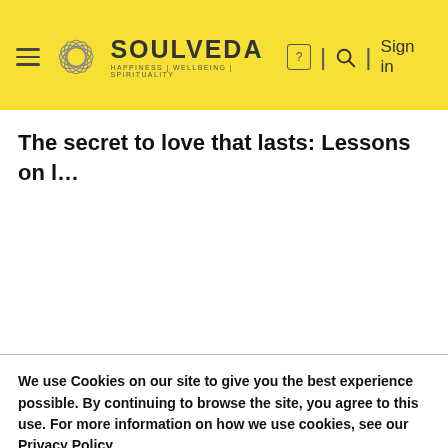SOULVEDA | HAPPINESS | WELLBEING | SPIRITUALITY — Sign in
The secret to love that lasts: Lessons on l...
We use Cookies on our site to give you the best experience possible. By continuing to browse the site, you agree to this use. For more information on how we use cookies, see our Privacy Policy
Find out more about which cookies we are using or switch them off in settings.